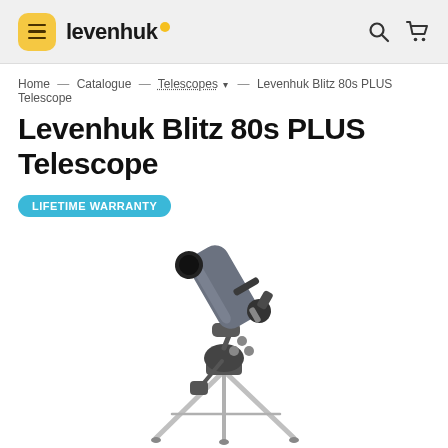levenhuk
Home — Catalogue — Telescopes ▾ — Levenhuk Blitz 80s PLUS Telescope
Levenhuk Blitz 80s PLUS Telescope
LIFETIME WARRANTY
[Figure (photo): Levenhuk Blitz 80s PLUS Telescope on a silver tripod with a dark tube and accessories, product image on white background]